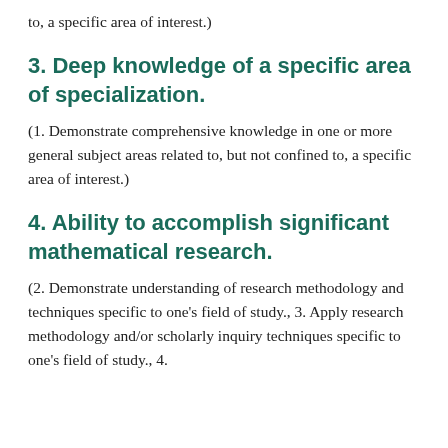to, a specific area of interest.)
3. Deep knowledge of a specific area of specialization.
(1. Demonstrate comprehensive knowledge in one or more general subject areas related to, but not confined to, a specific area of interest.)
4. Ability to accomplish significant mathematical research.
(2. Demonstrate understanding of research methodology and techniques specific to one’s field of study., 3. Apply research methodology and/or scholarly inquiry techniques specific to one’s field of study., 4.